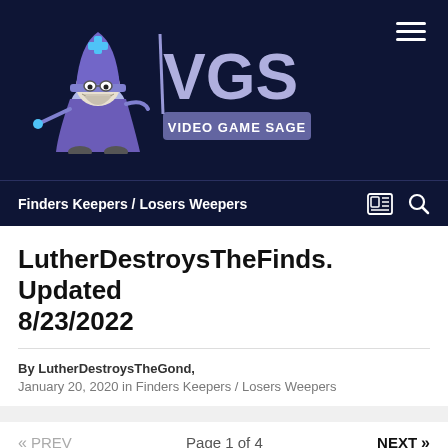[Figure (logo): Video Game Sage (VGS) website logo with cartoon wizard character holding a wand, wearing glasses and a blue hat, with 'VGS VIDEO GAME SAGE' text in purple/blue gradient lettering on dark navy background]
Finders Keepers / Losers Weepers
LutherDestroysTheFinds. Updated 8/23/2022
By LutherDestroysTheGond,
January 20, 2020 in Finders Keepers / Losers Weepers
« PREV    Page 1 of 4    NEXT »
LutherDestroysTheGond  +505
Member · Posted January 20, 2020